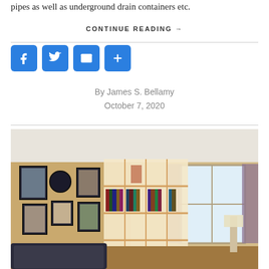pipes as well as underground drain containers etc.
CONTINUE READING →
[Figure (other): Social share buttons: Facebook, Twitter, Email, More (+)]
By James S. Bellamy
October 7, 2020
[Figure (photo): Interior room photo showing a bookshelf room divider with books and decorative items, gallery wall of framed pictures on the left, window with curtains in the background, sofa in the foreground.]